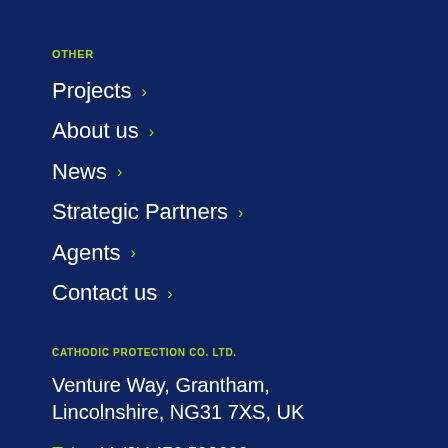OTHER
Projects
About us
News
Strategic Partners
Agents
Contact us
CATHODIC PROTECTION CO. LTD.
Venture Way, Grantham, Lincolnshire, NG31 7XS, UK
Tel: +44 (0)1476 590666
Email: cpc@cathodic.co.uk